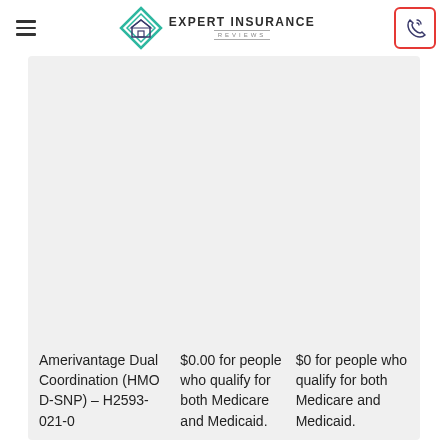[Figure (logo): Expert Insurance Reviews logo with diamond/house icon and text]
| Plan | Premium Col 1 | Premium Col 2 |
| --- | --- | --- |
| Amerivantage Dual Coordination (HMO D-SNP) – H2593-021-0 | $0.00 for people who qualify for both Medicare and Medicaid. | $0 for people who qualify for both Medicare and Medicaid. |